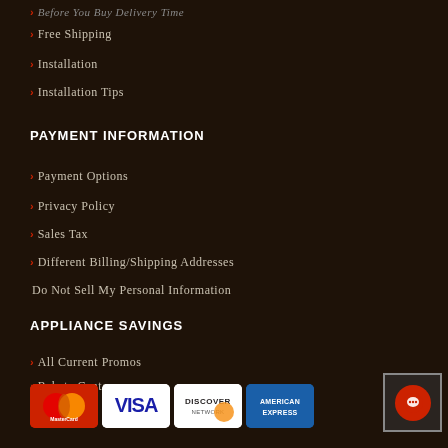> Free Shipping
> Installation
> Installation Tips
PAYMENT INFORMATION
> Payment Options
> Privacy Policy
> Sales Tax
> Different Billing/Shipping Addresses
Do Not Sell My Personal Information
APPLIANCE SAVINGS
> All Current Promos
> Rebate Center
> Clearance Items
> Package Deals
> Industry Discounts
[Figure (logo): Payment method logos: MasterCard, Visa, Discover Network, American Express]
[Figure (other): Chat support widget button with red circle icon]